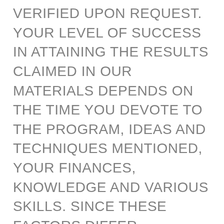VERIFIED UPON REQUEST. YOUR LEVEL OF SUCCESS IN ATTAINING THE RESULTS CLAIMED IN OUR MATERIALS DEPENDS ON THE TIME YOU DEVOTE TO THE PROGRAM, IDEAS AND TECHNIQUES MENTIONED, YOUR FINANCES, KNOWLEDGE AND VARIOUS SKILLS. SINCE THESE FACTORS DIFFER ACCORDING TO INDIVIDUALS, WE CANNOT GUARANTEE YOUR SUCCESS OR INCOME LEVEL. NOR ARE WE RESPONSIBLE FOR ANY OF YOUR ACTIONS.
MATERIALS IN OUR PRODUCT AND OUR WEBSITE MAY CONTAIN INFORMATION THAT INCLUDES OR IS BASED UPON FORWARD-LOOKING STATEMENTS WITH IN...